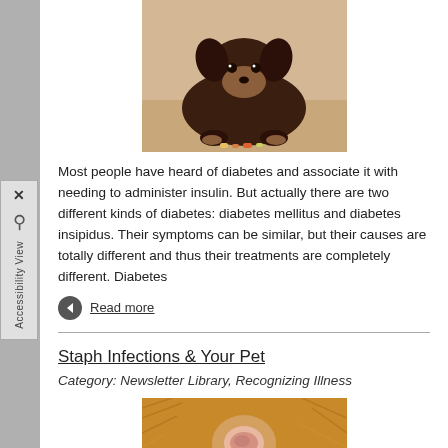[Figure (photo): Photo of a small dark brown/black Chihuahua dog lying down with small colored treats in front of it]
Most people have heard of diabetes and associate it with needing to administer insulin. But actually there are two different kinds of diabetes: diabetes mellitus and diabetes insipidus. Their symptoms can be similar, but their causes are totally different and thus their treatments are completely different. Diabetes
Read more
Staph Infections & Your Pet
Category: Newsletter Library, Recognizing Illness
[Figure (photo): Close-up photo of animal fur/skin showing a circular bald patch or skin lesion, possibly a staph infection on a pet]